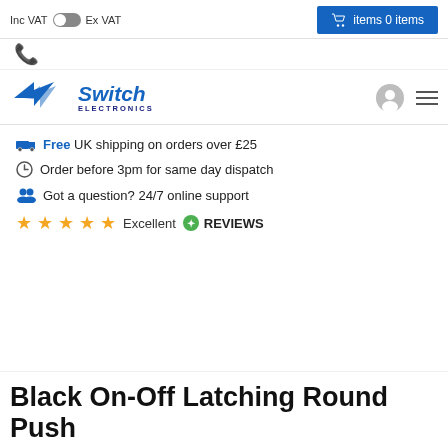Inc VAT  Ex VAT   items 0 items
[Figure (logo): Switch Electronics logo with angular arrow icon]
Free UK shipping on orders over £25
Order before 3pm for same day dispatch
Got a question? 24/7 online support
★★★★★ Excellent REVIEWS
Black On-Off Latching Round Push